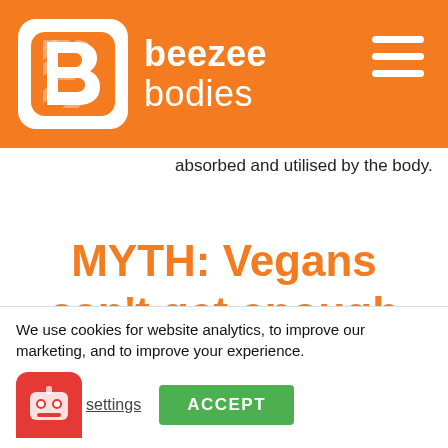beezee bodies
absorbed and utilised by the body.
MYTH: Vegans can't get enough protein
We use cookies for website analytics, to improve our marketing, and to improve your experience.